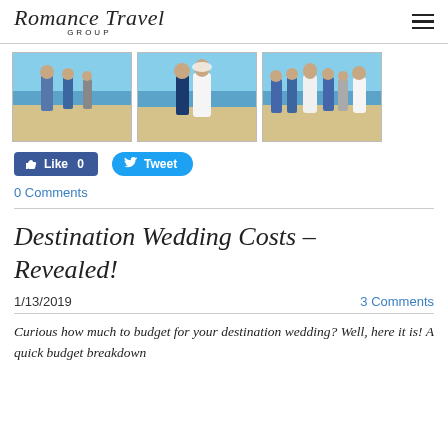Romance Travel GROUP
[Figure (photo): Three wedding photos: couple at beach ceremony, bride and groom walking hand in hand, wedding party group photo on beach]
Like 0   Tweet
0 Comments
Destination Wedding Costs – Revealed!
1/13/2019   3 Comments
Curious how much to budget for your destination wedding? Well, here it is! A quick budget breakdown